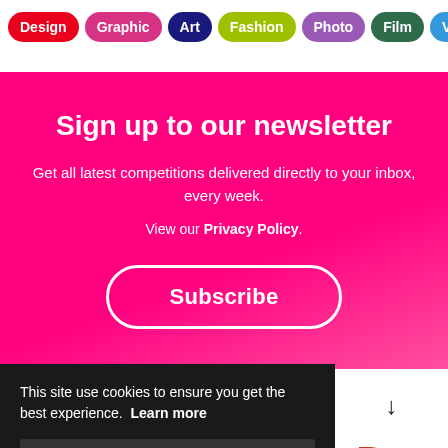Design | Graphic | Art | Fashion | Photo | Film | Video | Music
Sign up to our newsletter
Get all latest competitions delivered directly to your inbox, every week.
View our Privacy Policy.
Subscribe
This site use cookies to ensure you get the best experience. Learn more
Allow cookies
[Figure (logo): DNA logo with red letter D and stylized red flame/candle beside letter N on white background]